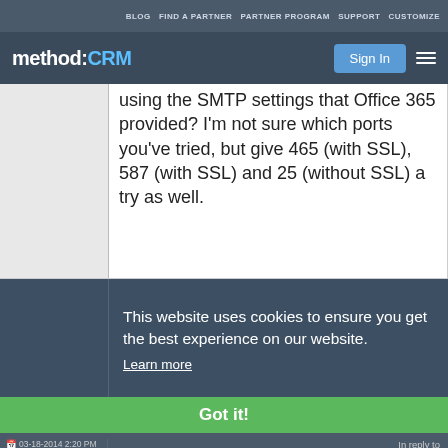BLOG  FIND A PARTNER  PARTNER PROGRAM  SUPPORT  CUSTOMIZE
method:CRM  Sign In
using the SMTP settings that Office 365 provided? I'm not sure which ports you've tried, but give 465 (with SSL), 587 (with SSL) and 25 (without SSL) a try as well.
This website uses cookies to ensure you get the best experience on our website. Learn more
Got it!
03-18-2014 2:20 PM   In reply to
handcrafted   Re: Sending emails